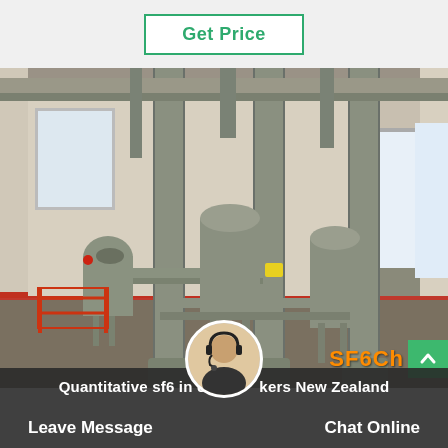Get Price
[Figure (photo): Industrial SF6 circuit breakers installed inside a large facility. Multiple grey cylindrical columns and high-voltage equipment visible in an indoor substation. Red safety barriers visible on the left side.]
SF6Ch
Quantitative sf6 in circuit breakers New Zealand | Leave Message | Chat Online